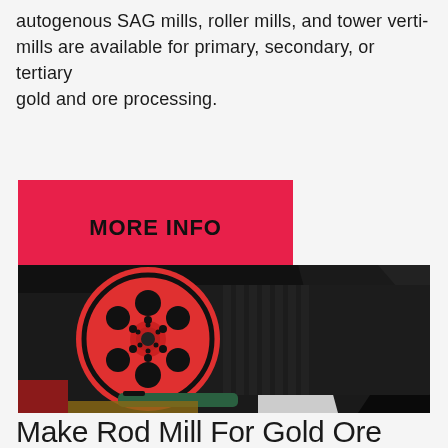autogenous SAG mills, roller mills, and tower vertimills are available for primary, secondary, or tertiary gold and ore processing.
[Figure (other): Red button/banner with text MORE INFO on a red background]
[Figure (photo): Close-up photo of a large red industrial pulley/sheave wheel attached to a black cylindrical mill shaft, with black steel frame structure visible in the background]
Make Rod Mill For Gold Ore